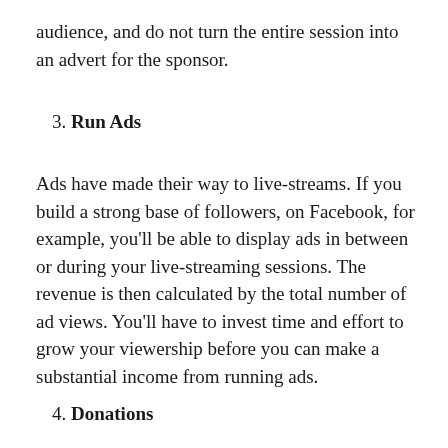audience, and do not turn the entire session into an advert for the sponsor.
3. Run Ads
Ads have made their way to live-streams. If you build a strong base of followers, on Facebook, for example, you’ll be able to display ads in between or during your live-streaming sessions. The revenue is then calculated by the total number of ad views. You’ll have to invest time and effort to grow your viewership before you can make a substantial income from running ads.
4. Donations